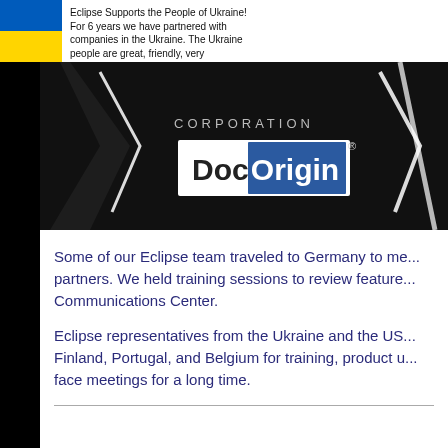[Figure (infographic): Ukraine flag banner with text: Eclipse Supports the People of Ukraine! For 6 years we have partnered with companies in the Ukraine. The Ukraine people are great, friendly, very professional and personable. We condemn Putin for this Invasion! Donate to UNICEF and help Ukraine button.]
[Figure (logo): DocOrigin Corporation logo on black background with stylized wing/slash graphics and white box containing DocOrigin with registered trademark symbol.]
Some of our Eclipse team traveled to Germany to me... partners. We held training sessions to review feature... Communications Center.
Eclipse representatives from the Ukraine and the US... Finland, Portugal, and Belgium for training, product u... face meetings for a long time.